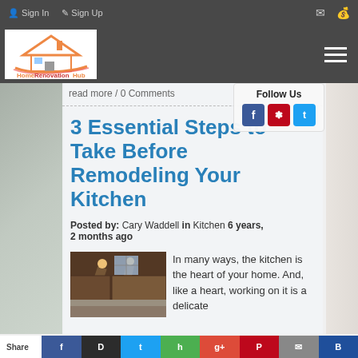Sign In / Sign Up
[Figure (logo): HomeRenovationHub logo with house icon in red/orange]
read more / 0 Comments
Follow Us
3 Essential Steps to Take Before Remodeling Your Kitchen
Posted by: Cary Waddell in Kitchen 6 years, 2 months ago
[Figure (photo): Photo of a kitchen interior with warm lighting]
In many ways, the kitchen is the heart of your home. And, like a heart, working on it is a delicate
Share [Facebook] [Twitter] [Hootsuite] [Google+] [Pinterest] [Email] [Blogger]